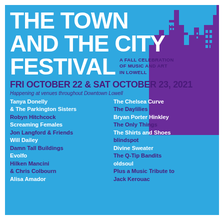[Figure (illustration): Festival poster for The Town and The City Festival with blue background and purple city skyline silhouette]
THE TOWN AND THE CITY FESTIVAL
A FALL CELEBRATION OF MUSIC AND ART IN LOWELL
FRI OCTOBER 22 & SAT OCTOBER 23, 2021
Happening at venues throughout Downtown Lowell
Tanya Donelly & The Parkington Sisters
Robyn Hitchcock
Screaming Females
Jon Langford & Friends
Will Dailey
Damn Tall Buildings
Evolfo
Hilken Mancini & Chris Colbourn
Alisa Amador
The Chelsea Curve
The Daylilies
Bryan Porter Hinkley
The Only Things
The Shirts and Shoes
blindspot
Divine Sweater
The Q-Tip Bandits
oldsoul
Plus a Music Tribute to Jack Kerouac